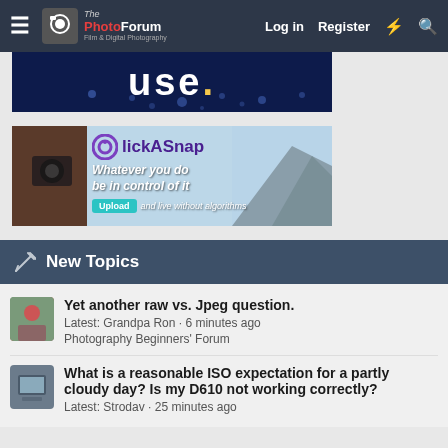The PhotoForum – Film & Digital Photography | Log in | Register
[Figure (screenshot): Dark blue advertisement banner partially visible with text 'use.' in large white letters and a yellow dot]
[Figure (screenshot): ClickASnap advertisement banner with text 'Whatever you do be in control of it' and 'Upload and live without algorithms']
New Topics
Yet another raw vs. Jpeg question. Latest: Grandpa Ron · 6 minutes ago Photography Beginners' Forum
What is a reasonable ISO expectation for a partly cloudy day? Is my D610 not working correctly? Latest: Strodav · 25 minutes ago